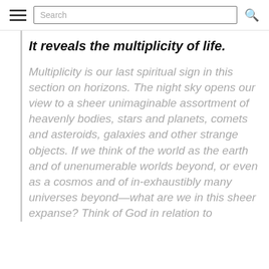Search
It reveals the multiplicity of life.
Multiplicity is our last spiritual sign in this section on horizons. The night sky opens our view to a sheer unimaginable assortment of heavenly bodies, stars and planets, comets and asteroids, galaxies and other strange objects. If we think of the world as the earth and of unenumerable worlds beyond, or even as a cosmos and of in-exhaustibly many universes beyond—what are we in this sheer expanse? Think of God in relation to